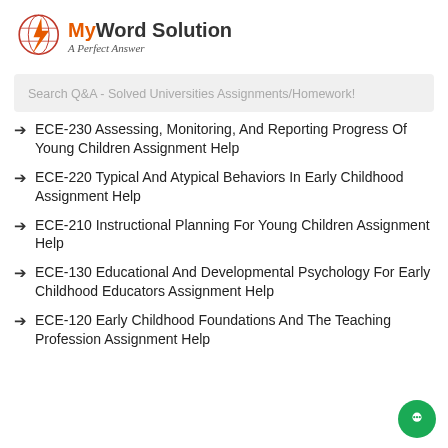[Figure (logo): MyWord Solution logo with orange lightning bolt globe icon and text 'My Word Solution - A Perfect Answer']
Search Q&A - Solved Universities Assignments/Homework!
ECE-230 Assessing, Monitoring, And Reporting Progress Of Young Children Assignment Help
ECE-220 Typical And Atypical Behaviors In Early Childhood Assignment Help
ECE-210 Instructional Planning For Young Children Assignment Help
ECE-130 Educational And Developmental Psychology For Early Childhood Educators Assignment Help
ECE-120 Early Childhood Foundations And The Teaching Profession Assignment Help